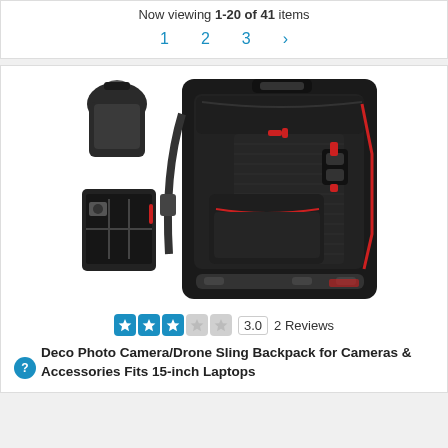Now viewing 1-20 of 41 items
1  2  3  >
[Figure (photo): Deco Photo Camera/Drone Sling Backpack shown from multiple angles: rear view, open compartment view, and main front view showing black bag with red accents and zippers]
3.0  2 Reviews
Deco Photo Camera/Drone Sling Backpack for Cameras & Accessories Fits 15-inch Laptops